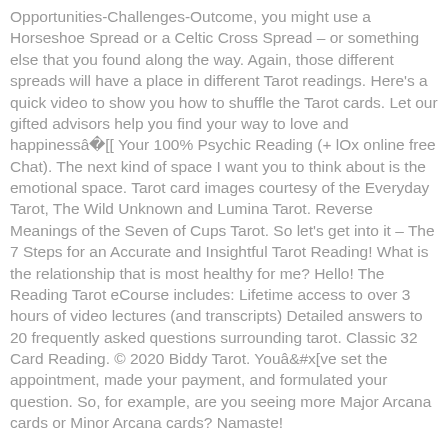Opportunities-Challenges-Outcome, you might use a Horseshoe Spread or a Celtic Cross Spread – or something else that you found along the way. Again, those different spreads will have a place in different Tarot readings. Here's a quick video to show you how to shuffle the Tarot cards. Let our gifted advisors help you find your way to love and happinessâ Your 100% Psychic Reading (+ lOx online free Chat). The next kind of space I want you to think about is the emotional space. Tarot card images courtesy of the Everyday Tarot, The Wild Unknown and Lumina Tarot. Reverse Meanings of the Seven of Cups Tarot. So let's get into it – The 7 Steps for an Accurate and Insightful Tarot Reading! What is the relationship that is most healthy for me? Hello! The Reading Tarot eCourse includes: Lifetime access to over 3 hours of video lectures (and transcripts) Detailed answers to 20 frequently asked questions surrounding tarot. Classic 32 Card Reading. © 2020 Biddy Tarot. Youâve set the appointment, made your payment, and formulated your question. So, for example, are you seeing more Major Arcana cards or Minor Arcana cards? Namaste!